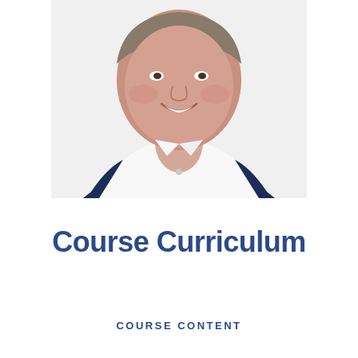[Figure (photo): Professional headshot of a middle-aged man smiling, wearing a white open-collar shirt and a navy blue blazer, photographed against a white background.]
Course Curriculum
COURSE CONTENT